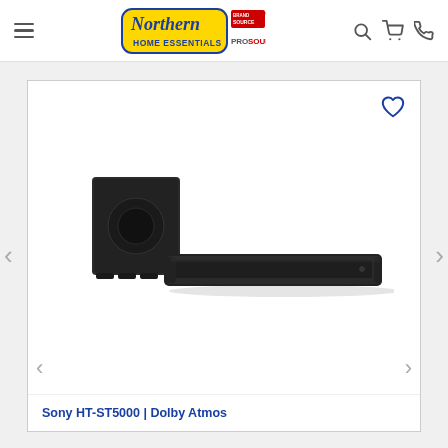Northern Home Essentials - Brand Source Pro Source
[Figure (photo): Sony HT-ST5000 soundbar and subwoofer product photo on white background]
Sony HT-ST5000 | Dolby Atmos